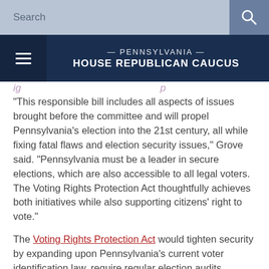Search
PENNSYLVANIA HOUSE REPUBLICAN CAUCUS
“This responsible bill includes all aspects of issues brought before the committee and will propel Pennsylvania’s election into the 21st century, all while fixing fatal flaws and election security issues,” Grove said. “Pennsylvania must be a leader in secure elections, which are also accessible to all legal voters. The Voting Rights Protection Act thoughtfully achieves both initiatives while also supporting citizens’ right to vote.”
The Voting Rights Protection Act would tighten security by expanding upon Pennsylvania’s current voter identification law, require regular election audits, improve election uniformity among the 67 counties as required by the Pennsylvania Constitution, enhance certification processes for all machines used in elections, require signature verification using ballot scanning equipment for mail-in and absentee ballots, improve lists of registered voters and more. Specifically, registered voters would receive through their counties a scannable and durable voter registration card, much like the identification cards currently issued to voters for use when voting in person.